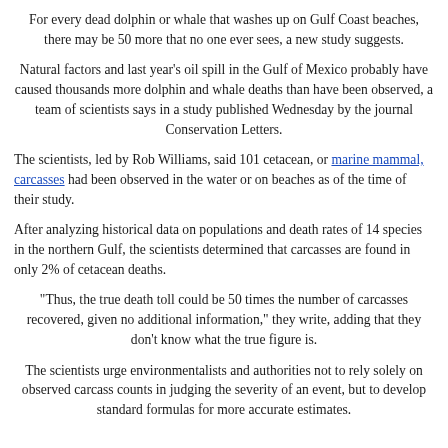For every dead dolphin or whale that washes up on Gulf Coast beaches, there may be 50 more that no one ever sees, a new study suggests.
Natural factors and last year's oil spill in the Gulf of Mexico probably have caused thousands more dolphin and whale deaths than have been observed, a team of scientists says in a study published Wednesday by the journal Conservation Letters.
The scientists, led by Rob Williams, said 101 cetacean, or marine mammal, carcasses had been observed in the water or on beaches as of the time of their study.
After analyzing historical data on populations and death rates of 14 species in the northern Gulf, the scientists determined that carcasses are found in only 2% of cetacean deaths.
"Thus, the true death toll could be 50 times the number of carcasses recovered, given no additional information," they write, adding that they don't know what the true figure is.
The scientists urge environmentalists and authorities not to rely solely on observed carcass counts in judging the severity of an event, but to develop standard formulas for more accurate estimates.